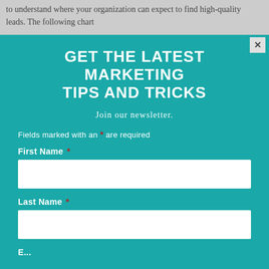to understand where your organization can expect to find high-quality leads. The following chart
[Figure (screenshot): Close button (X) at top right of modal]
GET THE LATEST MARKETING TIPS AND TRICKS
Join our newsletter.
Fields marked with an * are required
First Name *
Last Name *
E...